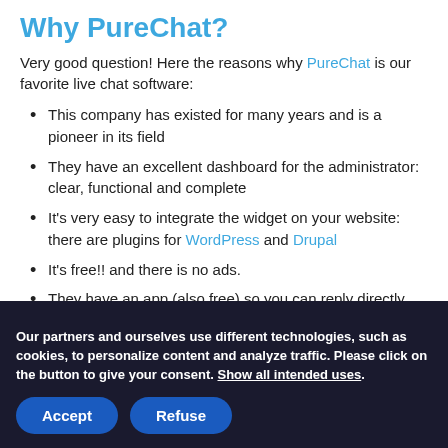Why PureChat?
Very good question! Here the reasons why PureChat is our favorite live chat software:
This company has existed for many years and is a pioneer in its field
They have an excellent dashboard for the administrator: clear, functional and complete
It's very easy to integrate the widget on your website: there are plugins for WordPress and Drupal
It's free!! and there is no ads.
They have an app (also free) so you can reply directly from your phone, not only your desktop
Our partners and ourselves use different technologies, such as cookies, to personalize content and analyze traffic. Please click on the button to give your consent. Show all intended uses.
Accept | Refuse